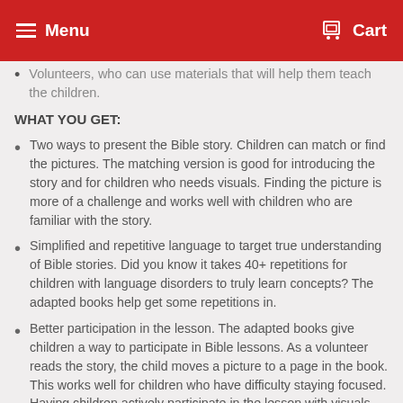Menu | Cart
Volunteers, who can use materials that will help them teach the children.
WHAT YOU GET:
Two ways to present the Bible story. Children can match or find the pictures. The matching version is good for introducing the story and for children who needs visuals. Finding the picture is more of a challenge and works well with children who are familiar with the story.
Simplified and repetitive language to target true understanding of Bible stories. Did you know it takes 40+ repetitions for children with language disorders to truly learn concepts? The adapted books help get some repetitions in.
Better participation in the lesson. The adapted books give children a way to participate in Bible lessons. As a volunteer reads the story, the child moves a picture to a page in the book. This works well for children who have difficulty staying focused. Having children actively participate in the lesson with visuals